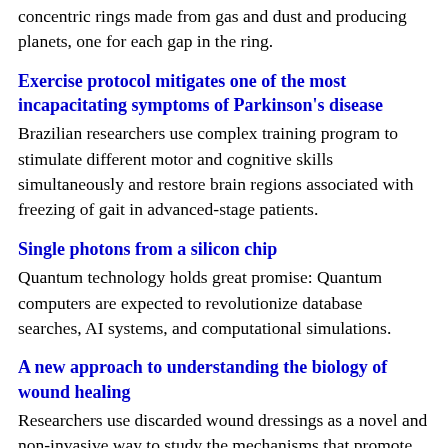concentric rings made from gas and dust and producing planets, one for each gap in the ring.
Exercise protocol mitigates one of the most incapacitating symptoms of Parkinson's disease
Brazilian researchers use complex training program to stimulate different motor and cognitive skills simultaneously and restore brain regions associated with freezing of gait in advanced-stage patients.
Single photons from a silicon chip
Quantum technology holds great promise: Quantum computers are expected to revolutionize database searches, AI systems, and computational simulations.
A new approach to understanding the biology of wound healing
Researchers use discarded wound dressings as a novel and non-invasive way to study the mechanisms that promote